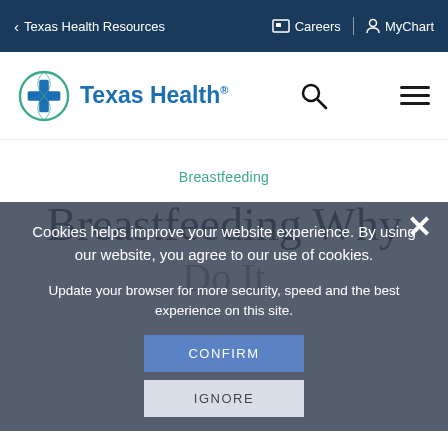< Texas Health Resources    Careers    MyChart
[Figure (logo): Texas Health logo with circular cross icon and 'Texas Health' text in blue]
Breastfeeding
Breastfeeding Why Do It
Cookies helps improve your website experience. By using our website, you agree to our use of cookies.
Update your browser for more security, speed and the best experience on this site.
CONFIRM
IGNORE